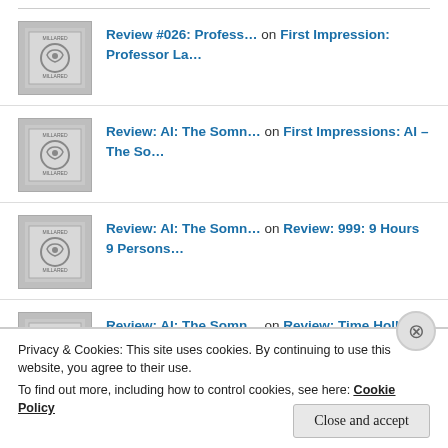Review #026: Profess… on First Impression: Professor La…
Review: AI: The Somn… on First Impressions: AI – The So…
Review: AI: The Somn… on Review: 999: 9 Hours 9 Persons…
Review: AI: The Somn… on Review: Time Hollow (DS) ~ DAT…
Review: AI: The Somn… on Review: Ace Attorney – M…
Privacy & Cookies: This site uses cookies. By continuing to use this website, you agree to their use.
To find out more, including how to control cookies, see here: Cookie Policy
Close and accept